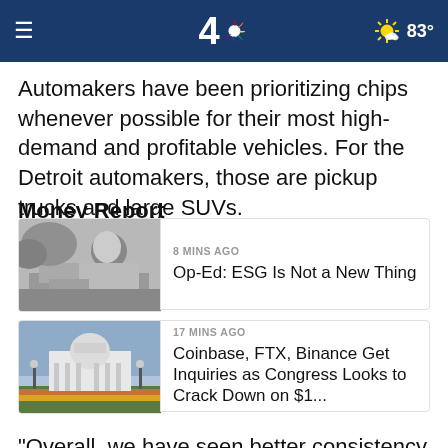NBC 4 — 83°
Automakers have been prioritizing chips whenever possible for their most high-demand and profitable vehicles. For the Detroit automakers, those are pickup trucks and large SUVs.
Money Report
[Figure (photo): Black and white photo of a man sitting at a desk]
8 MINS AGO
Op-Ed: ESG Is Not a New Thing
[Figure (photo): Photo of the US Capitol building]
17 MINS AGO
Coinbase, FTX, Binance Get Inquiries as Congress Looks to Crack Down on $1...
"Overall, we have seen better consistency in semiconductor supply through the first quarter compared to last year as a whole. This has translated into improvement in our production and deliveries during the first three months of the